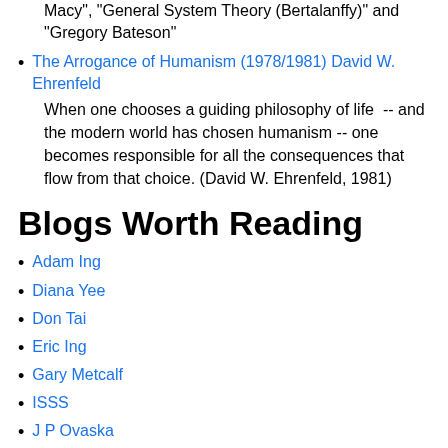Macy", "General System Theory (Bertalanffy)" and "Gregory Bateson"
The Arrogance of Humanism (1978/1981) David W. Ehrenfeld
When one chooses a guiding philosophy of life  -- and the modern world has chosen humanism -- one becomes responsible for all the consequences that flow from that choice. (David W. Ehrenfeld, 1981)
Blogs Worth Reading
Adam Ing
Diana Yee
Don Tai
Eric Ing
Gary Metcalf
ISSS
J P Ovaska
Kevin Leung